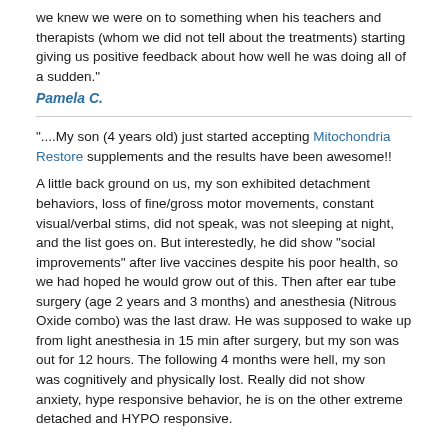We knew we were on to something when his teachers and therapists (whom we did not tell about the treatments) starting giving us positive feedback about how well he was doing all of a sudden."
Pamela C.
"....My son (4 years old) just started accepting Mitochondria Restore supplements and the results have been awesome!!
A little back ground on us, my son exhibited detachment behaviors, loss of fine/gross motor movements, constant visual/verbal stims, did not speak, was not sleeping at night, and the list goes on. But interestedly, he did show "social improvements" after live vaccines despite his poor health, so we had hoped he would grow out of this. Then after ear tube surgery (age 2 years and 3 months) and anesthesia (Nitrous Oxide combo) was the last draw. He was supposed to wake up from light anesthesia in 15 min after surgery, but my son was out for 12 hours. The following 4 months were hell, my son was cognitively and physically lost. Really did not show anxiety, hype responsive behavior, he is on the other extreme detached and HYPO responsive.